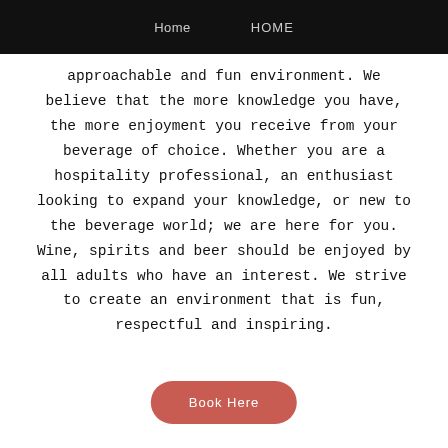Home    HOME
approachable and fun environment. We believe that the more knowledge you have, the more enjoyment you receive from your beverage of choice. Whether you are a hospitality professional, an enthusiast looking to expand your knowledge, or new to the beverage world; we are here for you. Wine, spirits and beer should be enjoyed by all adults who have an interest. We strive to create an environment that is fun, respectful and inspiring.
Book Here